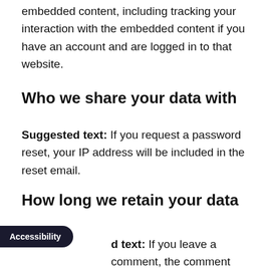embedded content, including tracking your interaction with the embedded content if you have an account and are logged in to that website.
Who we share your data with
Suggested text: If you request a password reset, your IP address will be included in the reset email.
How long we retain your data
Suggested text: If you leave a comment, the comment and its metadata are retained